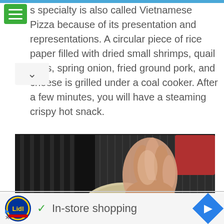s specialty is also called Vietnamese Pizza because of its presentation and representations. A circular piece of rice paper filled with dried small shrimps, quail eggs, spring onion, fried ground pork, and cheese is grilled under a coal cooker. After a few minutes, you will have a steaming crispy hot snack.
[Figure (photo): A hand wearing a plastic glove pressing toppings onto a round rice paper disc on a grill. The toppings include shredded white ingredients, yellow quail eggs, green spring onions, and ground meat. Dark grill grates visible in background.]
[Figure (logo): Lidl logo - circular badge with blue background and yellow/red Lidl text. Advertisement banner showing checkmark and 'In-store shopping' text with blue navigation diamond icon.]